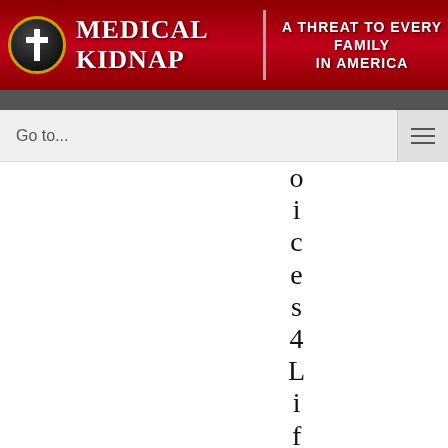[Figure (screenshot): Medical Kidnap website header banner with red background, cross icon, title 'Medical Kidnap' and subtitle 'A Threat to Every Family in America']
Go to...
oices4Lifecallshera"